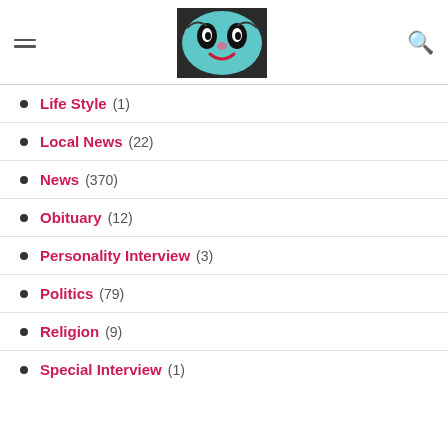Navigation header with hamburger menu, logo image, and search icon
Life Style (1)
Local News (22)
News (370)
Obituary (12)
Personality Interview (3)
Politics (79)
Religion (9)
Special Interview (1)